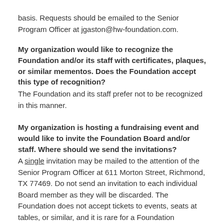basis. Requests should be emailed to the Senior Program Officer at jgaston@hw-foundation.com.
My organization would like to recognize the Foundation and/or its staff with certificates, plaques, or similar mementos. Does the Foundation accept this type of recognition?
The Foundation and its staff prefer not to be recognized in this manner.
My organization is hosting a fundraising event and would like to invite the Foundation Board and/or staff. Where should we send the invitations?
A single invitation may be mailed to the attention of the Senior Program Officer at 611 Morton Street, Richmond, TX 77469. Do not send an invitation to each individual Board member as they will be discarded. The Foundation does not accept tickets to events, seats at tables, or similar, and it is rare for a Foundation representative to attend on behalf of the Foundation.